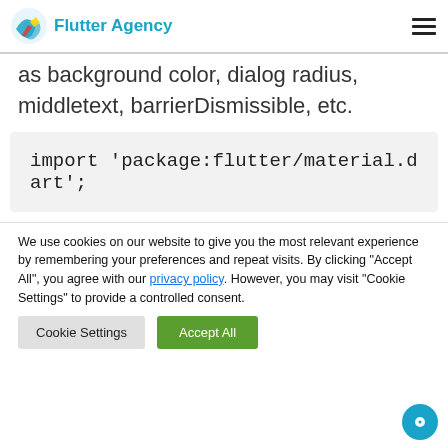Flutter Agency
as background color, dialog radius, middletext, barrierDismissible, etc.
We use cookies on our website to give you the most relevant experience by remembering your preferences and repeat visits. By clicking "Accept All", you agree with our privacy policy. However, you may visit "Cookie Settings" to provide a controlled consent.